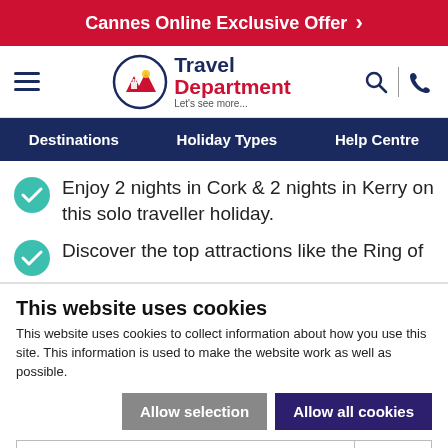Cannes Online Exclusive Offer
[Figure (logo): Travel Department logo with mountain/castle icon in a circle. Text: Travel Department. Let's see more...]
Destinations | Holiday Types | Help Centre
Enjoy 2 nights in Cork & 2 nights in Kerry on this solo traveller holiday.
Discover the top attractions like the Ring of
This website uses cookies
This website uses cookies to collect information about how you use this site. This information is used to make the website work as well as possible.
Allow selection | Allow all cookies
Necessary | Preferences | Statistics | Marketing | Show details